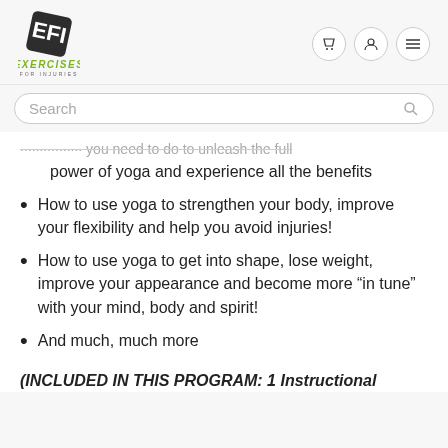[Figure (logo): Exercises For Injuries logo with stylized EFI diamond shape icon and green text]
power of yoga and experience all the benefits
How to use yoga to strengthen your body, improve your flexibility and help you avoid injuries!
How to use yoga to get into shape, lose weight, improve your appearance and become more “in tune” with your mind, body and spirit!
And much, much more
(INCLUDED IN THIS PROGRAM: 1 Instructional